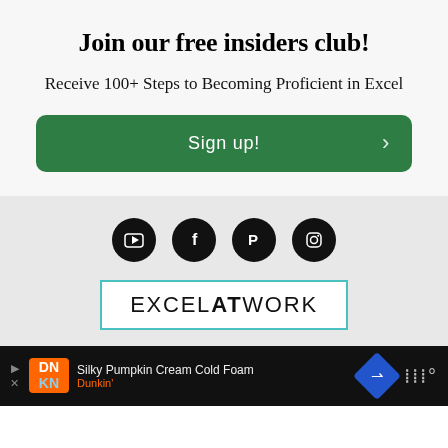Join our free insiders club!
Receive 100+ Steps to Becoming Proficient in Excel
Sign up!
[Figure (infographic): Social media icons (YouTube, Facebook, Pinterest, Instagram) as white icons on black circles, followed by EXCELATWORK logo in a teal-bordered white box]
Silky Pumpkin Cream Cold Foam Dunkin' [advertisement bar]